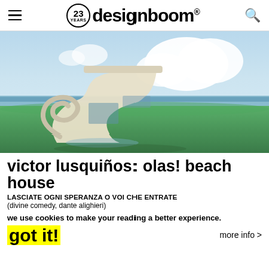designboom® — 23 YEARS logo with hamburger menu and search icon
[Figure (photo): Architectural rendering of the 'olas! beach house' by Victor Lusquiños — a futuristic white curved structure on a green coastal landscape with sky and sea in the background.]
victor lusquiños: olas! beach house
LASCIATE OGNI SPERANZA O VOI CHE ENTRATE
(divine comedy, dante alighieri)
we use cookies to make your reading a better experience.
got it!
more info >